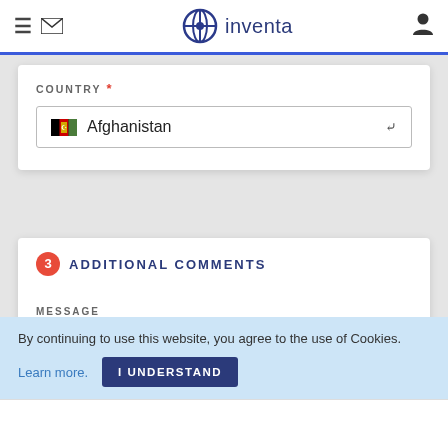inventa
COUNTRY *
Afghanistan
3 ADDITIONAL COMMENTS
MESSAGE
By continuing to use this website, you agree to the use of Cookies.
Learn more.
I UNDERSTAND